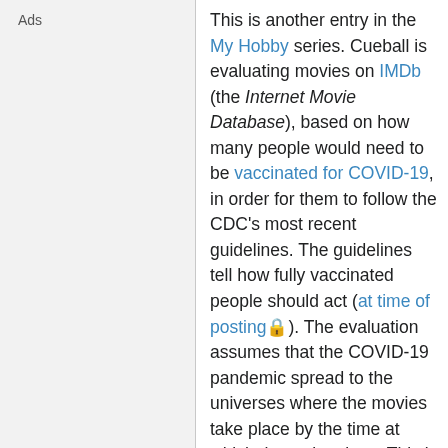Ads
This is another entry in the My Hobby series. Cueball is evaluating movies on IMDb (the Internet Movie Database), based on how many people would need to be vaccinated for COVID-19, in order for them to follow the CDC's most recent guidelines. The guidelines tell how fully vaccinated people should act (at time of posting 🔒). The evaluation assumes that the COVID-19 pandemic spread to the universes where the movies take place by the time at which they take place. This is part of a continuing pattern of comics. In these comics Randall applies COVID-19 safety standards to pre- or post-COVID situations.